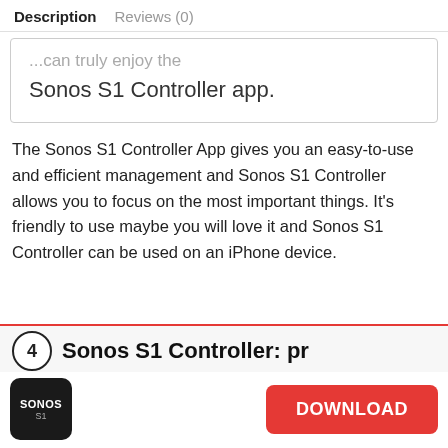Description   Reviews (0)
...can truly enjoy the Sonos S1 Controller app.
The Sonos S1 Controller App gives you an easy-to-use and efficient management and Sonos S1 Controller allows you to focus on the most important things. It's friendly to use maybe you will love it and Sonos S1 Controller can be used on an iPhone device.
4  Sonos S1 Controller: pr...
[Figure (logo): Sonos S1 app icon — dark square with SONOS and S1 text, plus a red DOWNLOAD button]